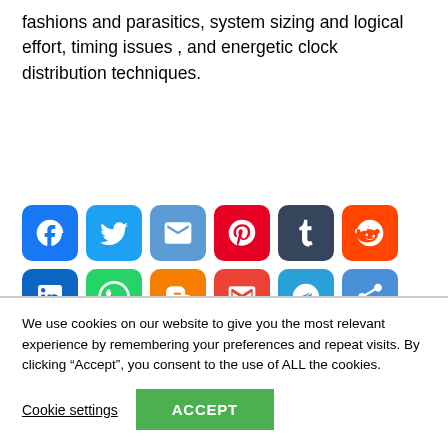fashions and parasitics, system sizing and logical effort, timing issues , and energetic clock distribution techniques.
[Figure (other): Row of social media sharing icon buttons: Facebook, Twitter, Email, Pinterest, Tumblr, Reddit, LinkedIn, WhatsApp, Blogger, Gmail, Telegram, Share]
We use cookies on our website to give you the most relevant experience by remembering your preferences and repeat visits. By clicking “Accept”, you consent to the use of ALL the cookies.
Cookie settings   ACCEPT